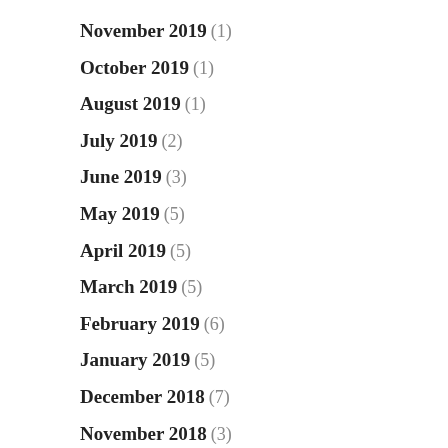November 2019 (1)
October 2019 (1)
August 2019 (1)
July 2019 (2)
June 2019 (3)
May 2019 (5)
April 2019 (5)
March 2019 (5)
February 2019 (6)
January 2019 (5)
December 2018 (7)
November 2018 (3)
October 2018 (5)
September 2018 (5)